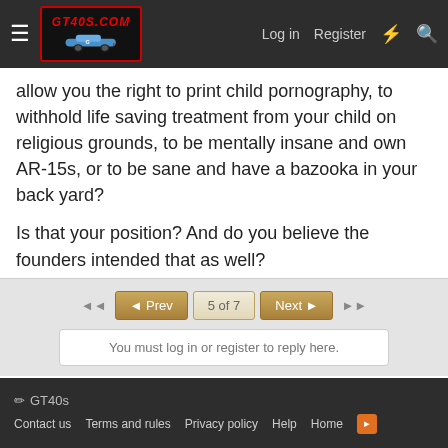GT40s.com — Log in | Register
allow you the right to print child pornography, to withhold life saving treatment from your child on religious grounds, to be mentally insane and own AR-15s, or to be sane and have a bazooka in your back yard?
Is that your position? And do you believe the founders intended that as well?
◄◄  ◄ Prev  5 of 7  Next ►  ►►
You must log in or register to reply here.
Share:
< The Paddock
GT40s — Contact us  Terms and rules  Privacy policy  Help  Home